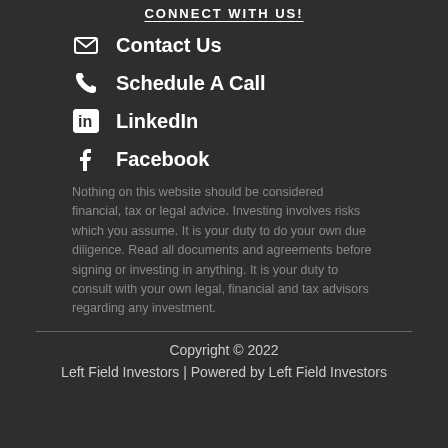CONNECT WITH US!
Contact Us
Schedule A Call
LinkedIn
Facebook
Nothing on this website should be considered financial, tax or legal advice. Investing involves risks which you assume. It is your duty to do your own due diligence. Read all documents and agreements before signing or investing in anything. It is your duty to consult with your own legal, financial and tax advisors regarding any investment.
Copyright © 2022
Left Field Investors | Powered by Left Field Investors